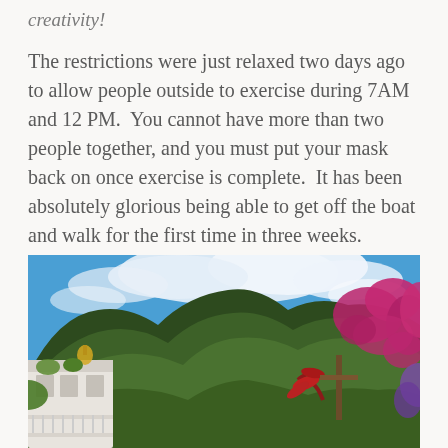creativity!
The restrictions were just relaxed two days ago to allow people outside to exercise during 7AM and 12 PM.  You cannot have more than two people together, and you must put your mask back on once exercise is complete.  It has been absolutely glorious being able to get off the boat and walk for the first time in three weeks.
[Figure (photo): Outdoor photo showing a tropical hillside covered with green vegetation under a bright blue sky with white clouds. In the left foreground is a white building with a balcony rail. On the right side are pink/magenta bougainvillea flowers and red tropical plants. A wooden cross or post structure is visible on the right side.]